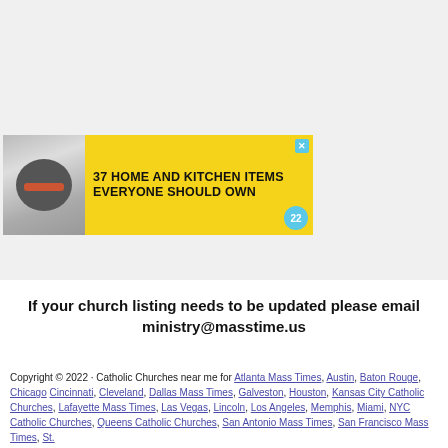[Figure (other): Advertisement banner: '37 HOME AND KITCHEN ITEMS EVERYONE SHOULD OWN' on yellow background with food image on left and close/badge buttons]
If your church listing needs to be updated please email ministry@masstime.us
Copyright © 2022 · Catholic Churches near me for Atlanta Mass Times, Austin, Baton Rouge, Chicago Cincinnati, Cleveland, Dallas Mass Times, Galveston, Houston, Kansas City Catholic Churches, Lafayette Mass Times, Las Vegas, Lincoln, Los Angeles, Memphis, Miami, NYC Catholic Churches, Queens Catholic Churches, San Antonio Mass Times, San Francisco Mass Times, St.